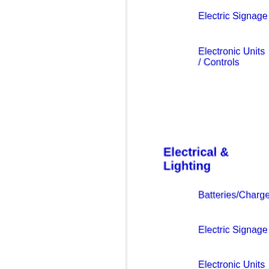Electric Signage
Energy Manag…
Electronic Units / Controls
Lighting
Electrical & Lighting
Batteries/Chargers
Emergency / E…
Electric Signage
Energy Manag…
Electronic Units / Controls
Lighting
Electrical & Lighting
Batteries/Chargers
Emergency / E…
Electric Signage
Energy Manag…
Electronic Units / Controls
Lighting
Electrical & Lighting
Batteries/Chargers
Emergency / E…